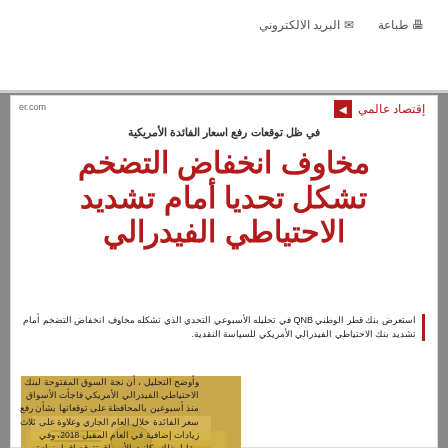طباعة   البريد الالكتروني
إقتصاد عالمي
في ظل توقعات رفع اسعار الفائدة الأمريكية
مخاوف انخفاض التضخم تشكل تحديا أمام تشديد الاحتياطي الفيدرالي
استعرض بنك قطر الوطني QNB في تحليله الأسبوعي التحدي الذي تشكله مخاوف انخفاض التضخم أمام تشديد بنك الاحتياطي الفيدرالي الأمريكي للسياسة النقدية.
[Figure (photo): Photo of US dollar banknotes stacked together]
وأوضح التحليل ، أن نجة السوق المفتوحة لبنك الاحتياطي الفيدرالي الأمريكي فاجأت الأسواق منذ أسبوعين بالمحافظة على توقعاتها بشأن رفع سعر الفائدة خلال العام الجاري وعلاوة على ثلاث زيادات إضافية في العام المقبل 2018، وفي مقابل ذلك، كانت الأسواق تتوقع إقرار زيادة واحدة فقط خلال الفترة المتبقية من 2017 وطوال عام 2018.